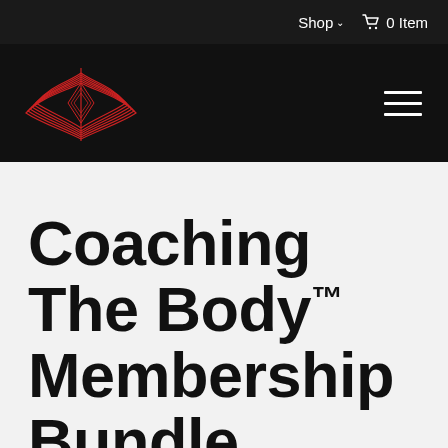Shop  0 Item
[Figure (logo): Coaching The Body red geometric logo on black background with hamburger menu icon]
Coaching The Body™ Membership Bundle